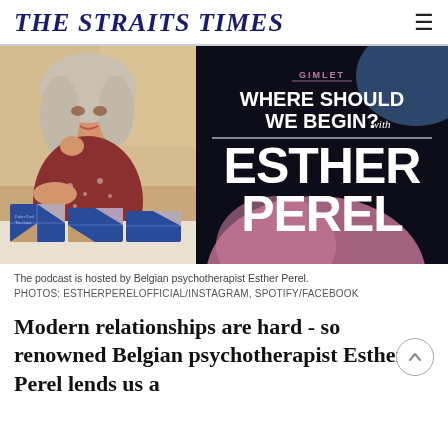THE STRAITS TIMES
[Figure (photo): Two-panel image: left panel shows Belgian psychotherapist Esther Perel, a woman with grey-blonde hair wearing a floral print blouse, seated at a table with geometric blue gift boxes; right panel shows the podcast cover art for 'Where Should We Begin? with Esther Perel' on a dark background with the Gimlet label and a pink profile silhouette]
The podcast is hosted by Belgian psychotherapist Esther Perel.
PHOTOS: ESTHERPERELOFFICIAL/INSTAGRAM, SPOTIFY/FACEBOOK
Modern relationships are hard - so renowned Belgian psychotherapist Esther Perel lends us a